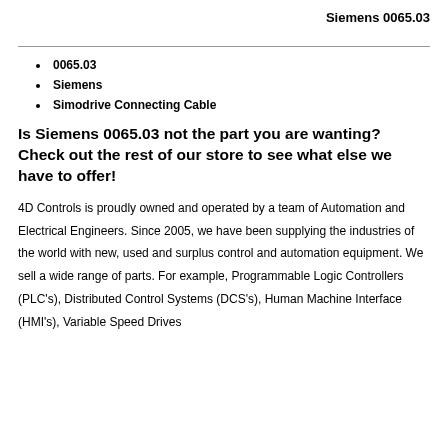Siemens 0065.03
0065.03
Siemens
Simodrive Connecting Cable
Is Siemens 0065.03 not the part you are wanting? Check out the rest of our store to see what else we have to offer!
4D Controls is proudly owned and operated by a team of Automation and Electrical Engineers. Since 2005, we have been supplying the industries of the world with new, used and surplus control and automation equipment. We sell a wide range of parts. For example, Programmable Logic Controllers (PLC's), Distributed Control Systems (DCS's), Human Machine Interface (HMI's), Variable Speed Drives